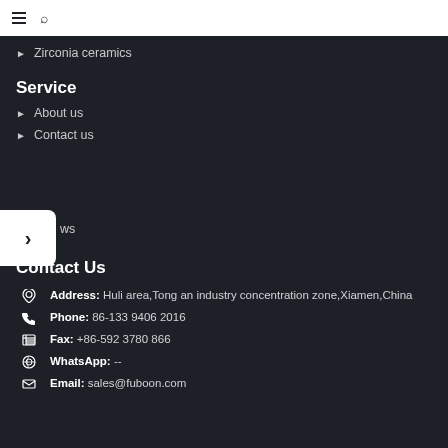☰ 🔍
Zirconia ceramics
Service
About us
Contact us
ws (News)
Contact Us
Address: Huli area,Tong an industry concentration zone,Xiamen,China
Phone: 86-133 9406 2016
Fax: +86-592 3780 866
WhatsApp: --
Email: sales@fuboon.com